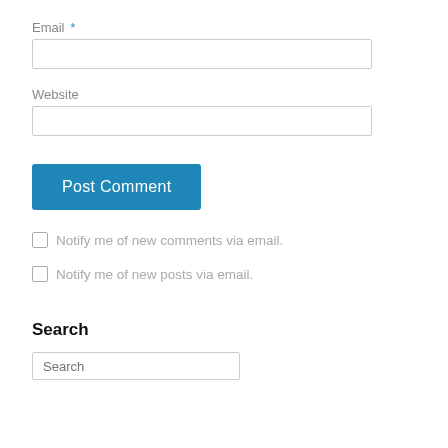Email *
[Figure (other): Text input field for email]
Website
[Figure (other): Text input field for website]
[Figure (other): Post Comment button, blue background]
Notify me of new comments via email.
Notify me of new posts via email.
Search
[Figure (other): Search input field with placeholder text 'Search']